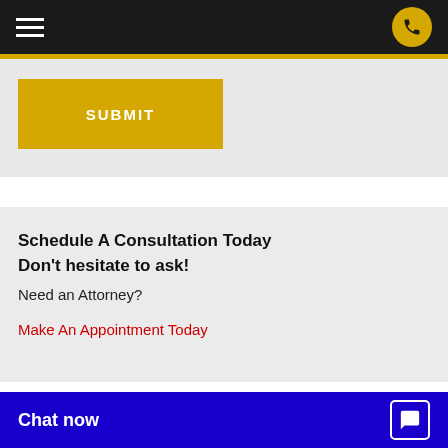Navigation header with hamburger menu and phone button
[Figure (screenshot): Gold/yellow submit button]
Schedule A Consultation Today
Don't hesitate to ask!
Need an Attorney?
Make An Appointment Today
Bailey & Galyen
Client satisfaction is our top priority
We have been comm attention and superi
[Figure (screenshot): Chat now button bar in blue]